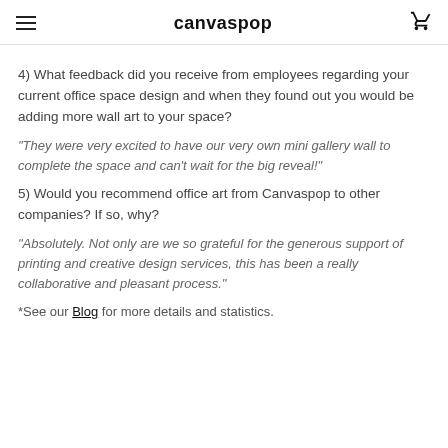canvaspop
4) What feedback did you receive from employees regarding your current office space design and when they found out you would be adding more wall art to your space?
“They were very excited to have our very own mini gallery wall to complete the space and can’t wait for the big reveal!”
5) Would you recommend office art from Canvaspop to other companies? If so, why?
“Absolutely. Not only are we so grateful for the generous support of printing and creative design services, this has been a really collaborative and pleasant process.”
*See our Blog for more details and statistics.